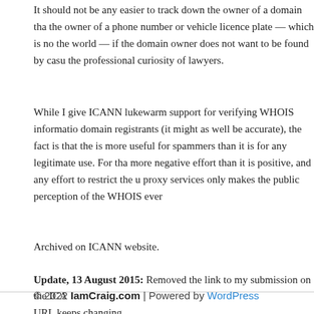It should not be any easier to track down the owner of a domain tha the owner of a phone number or vehicle licence plate — which is no the world — if the domain owner does not want to be found by casu the professional curiosity of lawyers.
While I give ICANN lukewarm support for verifying WHOIS informati domain registrants (it might as well be accurate), the fact is that the is more useful for spammers than it is for any legitimate use. For tha more negative effort than it is positive, and any effort to restrict the u proxy services only makes the public perception of the WHOIS ever
Archived on ICANN website.
Update, 13 August 2015: Removed the link to my submission on the ICANN URL keeps changing.
© 2022 IamCraig.com | Powered by WordPress